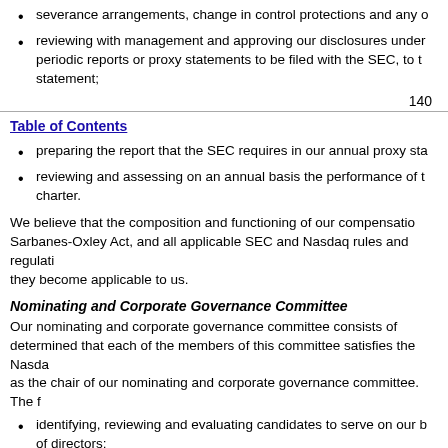severance arrangements, change in control protections and any other matters relating to executive compensation;
reviewing with management and approving our disclosures under periodic reports or proxy statements to be filed with the SEC, to the extent relating to executive compensation or compensation-related statement;
140
Table of Contents
preparing the report that the SEC requires in our annual proxy statement;
reviewing and assessing on an annual basis the performance of the compensation committee and the adequacy of this charter.
We believe that the composition and functioning of our compensation committee complies with all applicable requirements of the Sarbanes-Oxley Act, and all applicable SEC and Nasdaq rules and regulations. We will comply with future requirements to the extent they become applicable to us.
Nominating and Corporate Governance Committee
Our nominating and corporate governance committee consists of several members. Our board of directors has determined that each of the members of this committee satisfies the Nasdaq independence requirements. One member serves as the chair of our nominating and corporate governance committee. The functions of this committee include:
identifying, reviewing and evaluating candidates to serve on our board of directors;
determining the minimum qualifications for service on our board of directors;